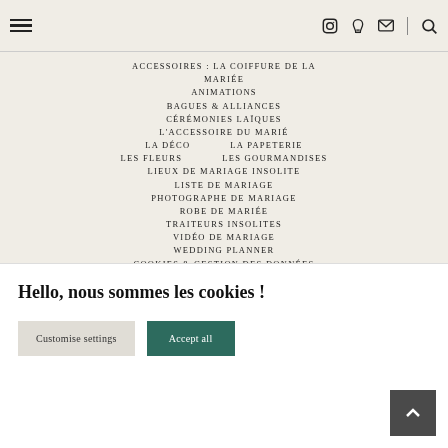Navigation bar with hamburger menu and icons for Instagram, Pinterest, Email, and Search
ACCESSOIRES: LA COIFFURE DE LA MARIÉE
ANIMATIONS
BAGUES & ALLIANCES
CÉRÉMONIES LAÏQUES
L'ACCESSOIRE DU MARIÉ
LA DÉCO
LA PAPETERIE
LES FLEURS
LES GOURMANDISES
LIEUX DE MARIAGE INSOLITE
LISTE DE MARIAGE
PHOTOGRAPHE DE MARIAGE
ROBE DE MARIÉE
TRAITEURS INSOLITES
VIDÉO DE MARIAGE
WEDDING PLANNER
COOKIES & GESTION DES DONNÉES PERSONNELLES
Hello, nous sommes les cookies !
Customise settings  Accept all